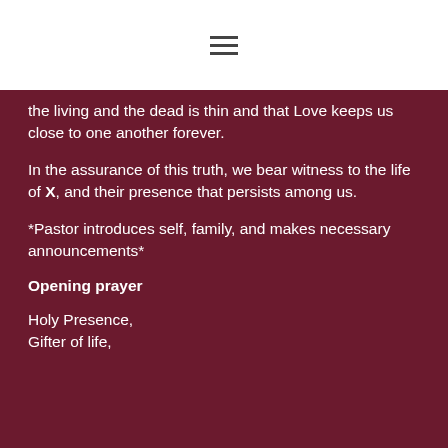≡
the living and the dead is thin and that Love keeps us close to one another forever.
In the assurance of this truth, we bear witness to the life of X, and their presence that persists among us.
*Pastor introduces self, family, and makes necessary announcements*
Opening prayer
Holy Presence,
Gifter of life,